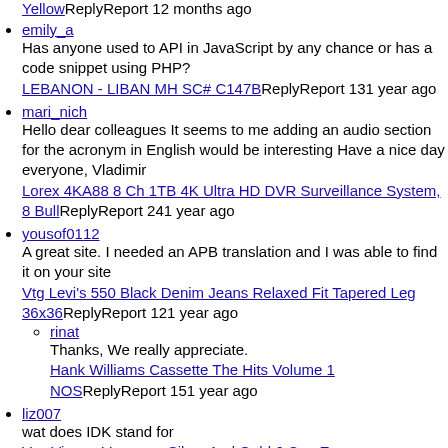YellowReplyReport 12 months ago
emily_a
Has anyone used to API in JavaScript by any chance or has a code snippet using PHP?
LEBANON - LIBAN MH SC# C147BReplyReport 131 year ago
mari_nich
Hello dear colleagues It seems to me adding an audio section for the acronym in English would be interesting Have a nice day everyone, Vladimir
Lorex 4KA88 8 Ch 1TB 4K Ultra HD DVR Surveillance System, 8 BullReplyReport 241 year ago
yousof0112
A great site. I needed an APB translation and I was able to find it on your site
Vtg Levi’s 550 Black Denim Jeans Relaxed Fit Tapered Leg 36x36ReplyReport 121 year ago
rinat
Thanks, We really appreciate.
Hank Williams Cassette The Hits Volume 1 NOSReplyReport 151 year ago
liz007
wat does IDK stand for
Vev Vigano Vespress Silver And Gold 6 Cup Expresso PotReplyReport 151 year ago
rinat